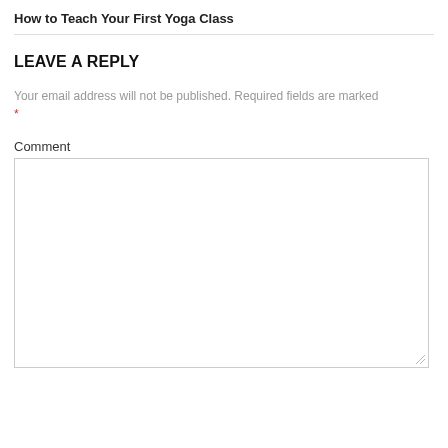How to Teach Your First Yoga Class
LEAVE A REPLY
Your email address will not be published. Required fields are marked *
Comment
[Figure (other): Empty comment text area input box with resize handle at bottom right corner]